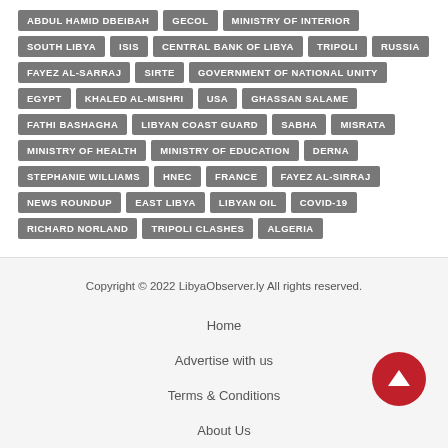ABDUL HAMID DBEIBAH | GECOL | MINISTRY OF INTERIOR | SOUTH LIBYA | ISIS | CENTRAL BANK OF LIBYA | TRIPOLI | RUSSIA | FAYEZ AL-SARRAJ | SIRTE | GOVERNMENT OF NATIONAL UNITY | EGYPT | KHALED AL-MISHRI | USA | GHASSAN SALAME | FATHI BASHAGHA | LIBYAN COAST GUARD | SABHA | MISRATA | MINISTRY OF HEALTH | MINISTRY OF EDUCATION | DERNA | STEPHANIE WILLIAMS | HNEC | FRANCE | FAYEZ AL-SIRRAJ | NEWS ROUNDUP | EAST LIBYA | LIBYAN OIL | COVID-19 | RICHARD NORLAND | TRIPOLI CLASHES | ALGERIA
Copyright © 2022 LibyaObserver.ly All rights reserved.
Home
Advertise with us
Terms & Conditions
About Us